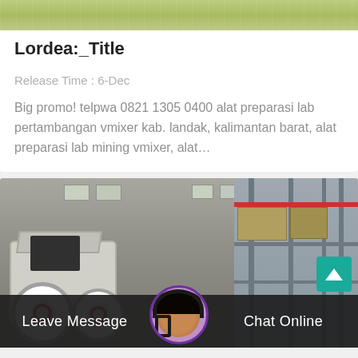[Figure (photo): Partial image at top of card, appears to show industrial/warehouse setting with green/yellow tones]
Lordea:_Title
Release Time : 6-Dec
Big promo! telpwa 0821 1305 0400 alat preparasi lab pertambangan vmixer kab. landak, kalimantan barat, alat preparasi lab mining vmixer, alat…
[Figure (photo): Industrial factory/warehouse with large mining/crushing machine in foreground (white body, red/white wheels) and metal scaffolding/racking in background]
Leave Message
Chat Online